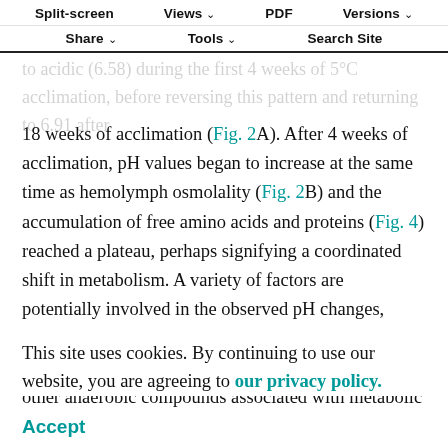(Storey et al., 1984). In the present study, hemolymph pH values decreased steadily from nearly neutral (6.92) to acidic (6.58) during the first 4 weeks of 5°C acclimation, before reversing this pattern and returning to 6.91 after
Split-screen   Views   PDF   Versions   Share   Tools   Search Site
18 weeks of acclimation (Fig. 2A). After 4 weeks of acclimation, pH values began to increase at the same time as hemolymph osmolality (Fig. 2B) and the accumulation of free amino acids and proteins (Fig. 4) reached a plateau, perhaps signifying a coordinated shift in metabolism. A variety of factors are potentially involved in the observed pH changes, including direct temperature effects related to alphastat regulation, and accumulation of lactate or other anaerobic compounds associated with metabolic
This site uses cookies. By continuing to use our website, you are agreeing to our privacy policy. Accept
When caterpillars were frozen at -20°C for 1 week, the pH